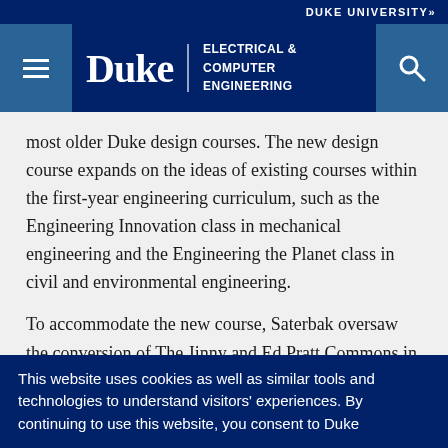DUKE UNIVERSITY»
[Figure (logo): Duke University Electrical & Computer Engineering navigation bar with hamburger menu, Duke wordmark, department name, and search icon]
most older Duke design courses. The new design course expands on the ideas of existing courses within the first-year engineering curriculum, such as the Engineering Innovation class in mechanical engineering and the Engineering the Planet class in civil and environmental engineering.
To accommodate the new course, Saterbak oversaw the conversion of The Jinny and Ed Pratt Commons in the Levine Science Research Center
This website uses cookies as well as similar tools and technologies to understand visitors' experiences. By continuing to use this website, you consent to Duke